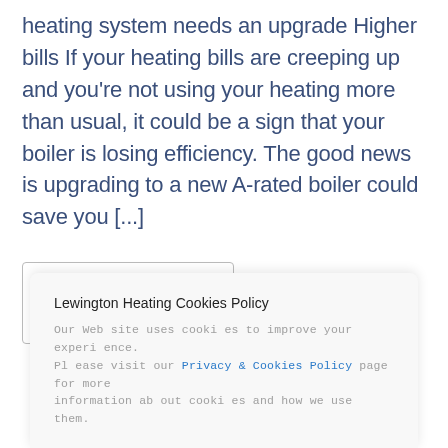heating system needs an upgrade Higher bills If your heating bills are creeping up and you're not using your heating more than usual, it could be a sign that your boiler is losing efficiency. The good news is upgrading to a new A-rated boiler could save you [...]
READ
Lewington Heating Cookies Policy
Our Website uses cookies to improve your experience. Please visit our Privacy & Cookies Policy page for more information about cookies and how we use them.